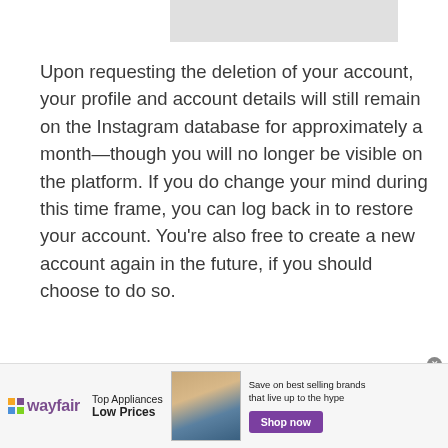[Figure (other): Gray placeholder banner at top of page]
Upon requesting the deletion of your account, your profile and account details will still remain on the Instagram database for approximately a month—though you will no longer be visible on the platform. If you do change your mind during this time frame, you can log back in to restore your account. You're also free to create a new account again in the future, if you should choose to do so.
Advertisement
[Figure (other): Wayfair advertisement banner: Top Appliances Low Prices, Save on best selling brands that live up to the hype, Shop now button]